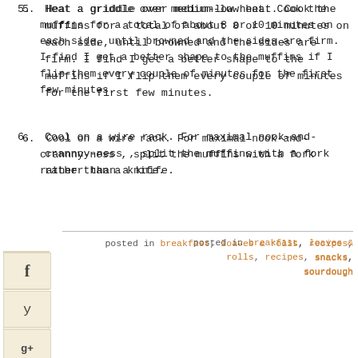5. Heat a griddle over medium-low heat. Cook the muffins for a total of about 8 or 10 minutes on each side, until browned and the sides are firm. I find I get a better shape to the muffins if I flip them every couple of minutes for the first few minutes.
6. Cool on a wire rack. For maximal nook-and-crannny-ness , split the muffins with a fork rather than a knife.
posted in breakfast, loaves & rolls, recipes, snacks, sourdough
183 SHARES
Comments
[LEAVE A COMMENT]
Marjoke
March 30, 2009 at 12:08 pm
If those taste a nice as your pancakes a few weeks ago, I'll make them my very first day off.